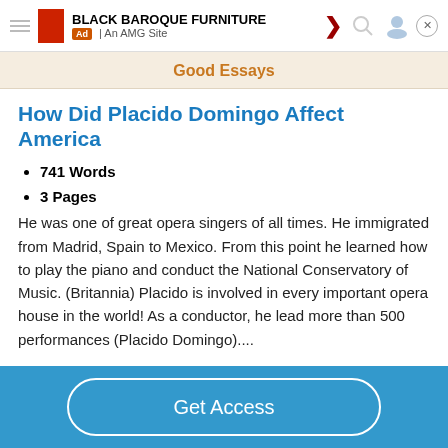BLACK BAROQUE FURNITURE | Ad | An AMG Site
Good Essays
How Did Placido Domingo Affect America
741 Words
3 Pages
He was one of great opera singers of all times. He immigrated from Madrid, Spain to Mexico. From this point he learned how to play the piano and conduct the National Conservatory of Music. (Britannia) Placido is involved in every important opera house in the world! As a conductor, he lead more than 500 performances (Placido Domingo)....
Get Access